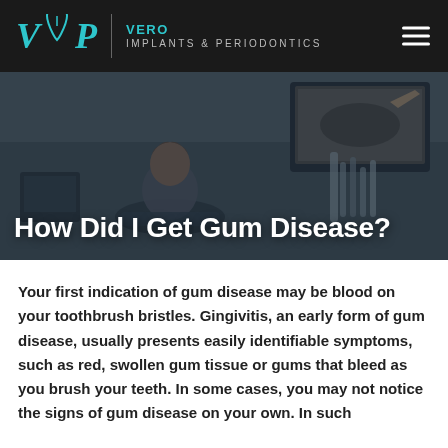VIP VERO IMPLANTS & PERIODONTICS
[Figure (photo): A patient reclined in a dental chair looking up at an X-ray image on a monitor, with dental equipment visible in the background. Dark overlay applied.]
How Did I Get Gum Disease?
Your first indication of gum disease may be blood on your toothbrush bristles. Gingivitis, an early form of gum disease, usually presents easily identifiable symptoms, such as red, swollen gum tissue or gums that bleed as you brush your teeth. In some cases, you may not notice the signs of gum disease on your own. In such